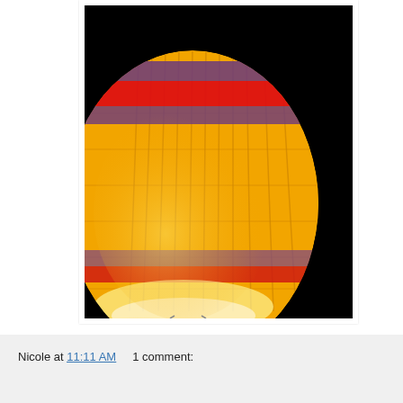[Figure (photo): Close-up photograph of a hot air balloon glowing at night against a black sky. The balloon has colorful horizontal stripes: yellow/orange, purple, red, and orange bands. The interior is brightly lit from the burner below, illuminating the balloon fabric.]
Nicole at 11:11 AM    1 comment: